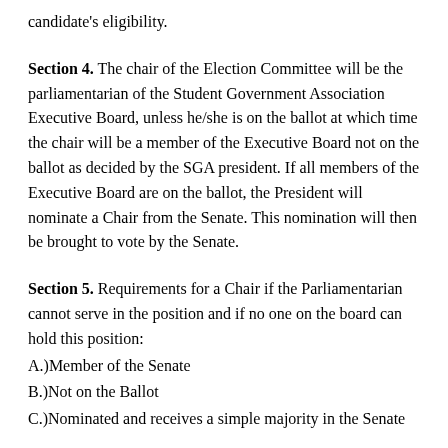candidate’s eligibility.
Section 4. The chair of the Election Committee will be the parliamentarian of the Student Government Association Executive Board, unless he/she is on the ballot at which time the chair will be a member of the Executive Board not on the ballot as decided by the SGA president. If all members of the Executive Board are on the ballot, the President will nominate a Chair from the Senate. This nomination will then be brought to vote by the Senate.
Section 5. Requirements for a Chair if the Parliamentarian cannot serve in the position and if no one on the board can hold this position:
A.)Member of the Senate
B.)Not on the Ballot
C.)Nominated and receives a simple majority in the Senate